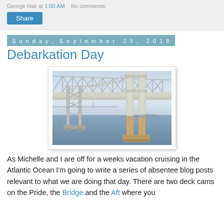George Hall at 1:00 AM   No comments:
Share
Sunday, September 23, 2018
Debarkation Day
[Figure (photo): Photograph of a large suspension bridge (Chesapeake Bay Bridge) viewed from water level, showing the bridge deck, towers, and cables against a pale sky, with water in the foreground.]
As Michelle and I are off for a weeks vacation cruising in the Atlantic Ocean I'm going to write a series of absentee blog posts relevant to what we are doing that day. There are two deck cams on the Pride, the Bridge and the Aft where you